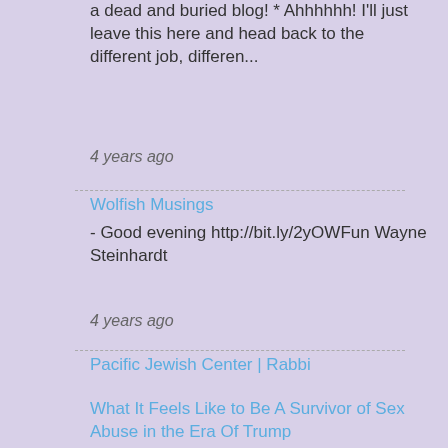a dead and buried blog! * Ahhhhhh! I'll just leave this here and head back to the different job, differen...
4 years ago
Wolfish Musings
- Good evening http://bit.ly/2yOWFun Wayne Steinhardt
4 years ago
Pacific Jewish Center | Rabbi
What It Feels Like to Be A Survivor of Sex Abuse in the Era Of Trump
- [image: rtsrjdz] We all heard Donald Trump brag about committing sexual assault. It was shocking to hear, and upsetting to nearly everyone. Trump wants us ...
5 years ago